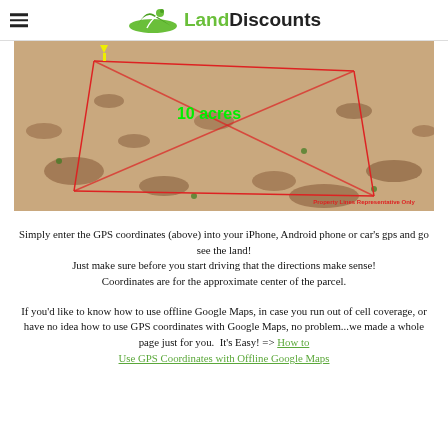LandDiscounts
[Figure (photo): Aerial view of a 10-acre desert land parcel with red property lines drawn on it and text '10 acres' in green. A yellow arrow points to a location. Bottom right watermark reads 'Property Lines Representative Only'.]
Simply enter the GPS coordinates (above) into your iPhone, Android phone or car's gps and go see the land! Just make sure before you start driving that the directions make sense! Coordinates are for the approximate center of the parcel.
If you'd like to know how to use offline Google Maps, in case you run out of cell coverage, or have no idea how to use GPS coordinates with Google Maps, no problem...we made a whole page just for you. It's Easy! => How to Use GPS Coordinates with Offline Google Maps